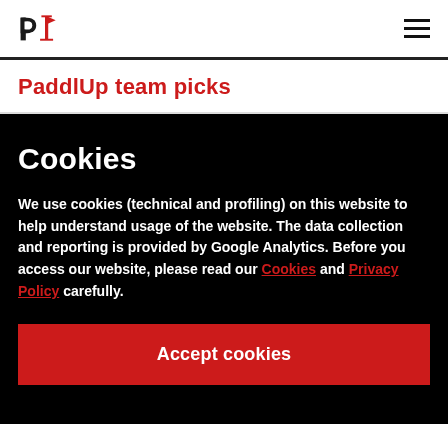PaddlUp logo | hamburger menu
PaddlUp team picks
Cookies
We use cookies (technical and profiling) on this website to help understand usage of the website. The data collection and reporting is provided by Google Analytics. Before you access our website, please read our Cookies and Privacy Policy carefully.
Accept cookies